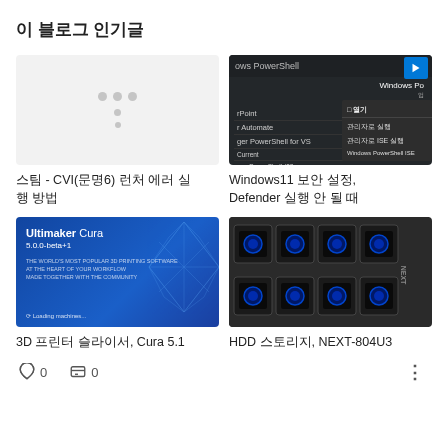이 블로그 인기글
[Figure (screenshot): Placeholder image with grey dots loading indicator]
스팀 - CVI(문명6) 런처 에러 실행 방법
[Figure (screenshot): Windows PowerShell context menu on dark background with blue PowerShell icon]
Windows11 보안 설정, Defender 실행 안 될 때
[Figure (screenshot): Ultimaker Cura 5.0.0-beta+1 loading splash screen on blue background]
3D 프린터 슬라이서, Cura 5.1
[Figure (photo): HDD storage device NEXT-804U3 with multiple dark drive bays and blue LED lights]
HDD 스토리지, NEXT-804U3